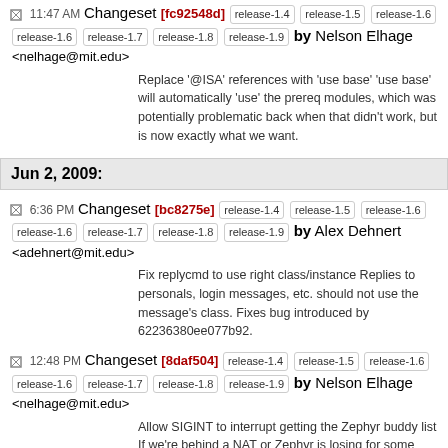11:47 AM Changeset [fc92548d] release-1.4 release-1.5 release-1.6 release-1.7 release-1.8 release-1.9 by Nelson Elhage <nelhage@mit.edu>
Replace '@ISA' references with 'use base' 'use base' will automatically 'use' the prereq modules, which was potentially problematic back when that didn't work, but is now exactly what we want.
Jun 2, 2009:
6:36 PM Changeset [bc8275e] release-1.4 release-1.5 release-1.6 release-1.7 release-1.8 release-1.9 by Alex Dehnert <adehnert@mit.edu>
Fix replycmd to use right class/instance Replies to personals, login messages, etc. should not use the message's class. Fixes bug introduced by 62236380ee077b92.
12:48 PM Changeset [8daf504] release-1.4 release-1.5 release-1.6 release-1.7 release-1.8 release-1.9 by Nelson Elhage <nelhage@mit.edu>
Allow SIGINT to interrupt getting the Zephyr buddy list If we're behind a NAT or Zephyr is losing for some other reason, 'l' will hang for (30 seconds) * (size of .anyone). Allow SIGINT to interrupt it and cause us to bail out early. ZLocateUser will still hang for up to 30 seconds before that takes effect, but that's better than having to wait for all of them.
11:53 AM Changeset [fd8dfe7] release-1.4 release-1.5 release-1.6 release-1.7 release-1.8 release-1.9 by Nelson Elhage